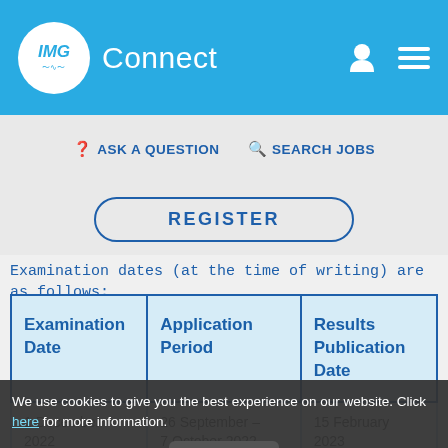[Figure (logo): IMG Connect logo — circular white badge with 'IMG' text and heartbeat line, followed by 'Connect' in white text on blue header bar. Person icon and hamburger menu icon on the right.]
IMG Connect
ASK A QUESTION   SEARCH JOBS
REGISTER
Examination dates (at the time of writing) are as follows:
| Examination Date | Application Period | Results Publication Date |
| --- | --- | --- |
| 1 December 2022 | 26 September – 7 October 2022 | 15 February 2023 |
We use cookies to give you the best experience on our website. Click here for more information. Got it